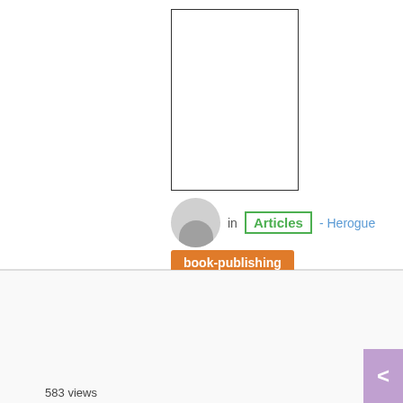[Figure (illustration): Book cover placeholder (empty white rectangle with border) and user avatar icon]
in Articles - Herogue
book-publishing
Self-Publishing: Common Scams to Avoid
Are you an author who has decided to go the self-publishing route? If you have received numerous rejection letters from publishing ... book published. Just be sure to use your best